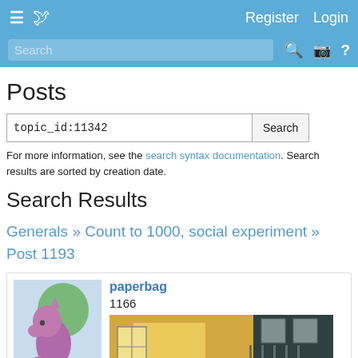≡ [bird logo]   Register   Login
Search [search icon] [camera icon] ?
Posts
topic_id:11342   Search
For more information, see the search syntax documentation. Search results are sorted by creation date.
Search Results
Generals » Count to 1000, social experiment » Post 1193
paperbag
1166
[Figure (illustration): Avatar image of a cartoon pony silhouette (pink/purple body, green hair) on a light blue background]
[Figure (illustration): Scene image showing a lit interior with window/balcony architecture and a red character at bottom right]